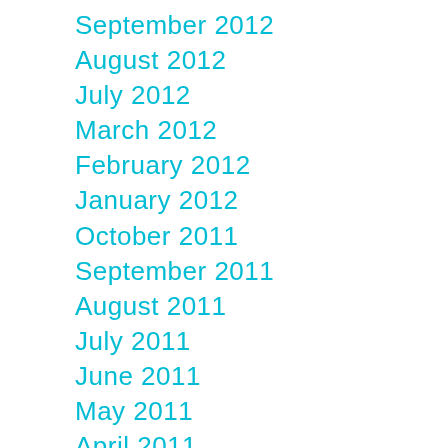September 2012
August 2012
July 2012
March 2012
February 2012
January 2012
October 2011
September 2011
August 2011
July 2011
June 2011
May 2011
April 2011
February 2011
September 2010